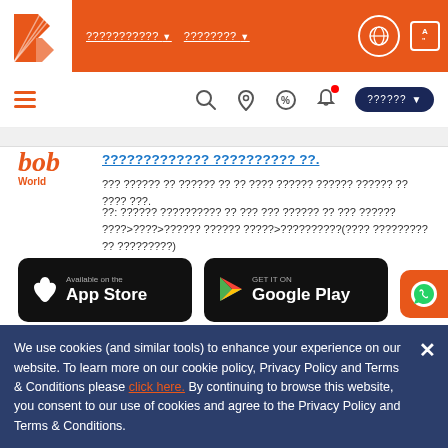[Figure (screenshot): Bank of Baroda website header with orange background, bob World logo, navigation items in Hindi/regional script, and globe/language icon]
[Figure (screenshot): Secondary navigation bar with hamburger menu, search, location, offers, notification icons, and a dark blue login button]
????????????? ?????????? ??.
??? ?????? ?? ?????? ?? ?? ???? ?????? ?????? ?????? ?? ???? ???.
??: ?????? ?????????? ?? ??? ??? ?????? ?? ??? ??????
????>????>?????? ?????? ?????>??????????(???? ????????? ?? ?????????)
?????????
[Figure (screenshot): App Store and Google Play download buttons]
We use cookies (and similar tools) to enhance your experience on our website. To learn more on our cookie policy, Privacy Policy and Terms & Conditions please click here. By continuing to browse this website, you consent to our use of cookies and agree to the Privacy Policy and Terms & Conditions.